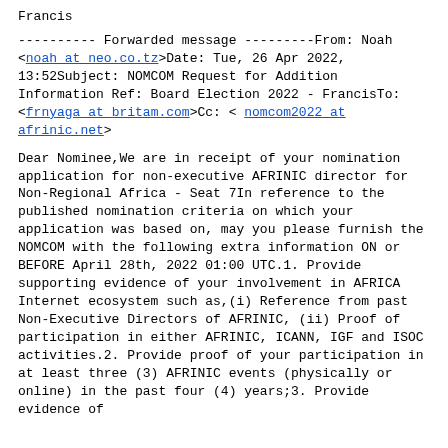Francis
---------- Forwarded message ---------From: Noah <noah at neo.co.tz>Date: Tue, 26 Apr 2022, 13:52Subject: NOMCOM Request for Addition Information Ref: Board Election 2022 - FrancisTo: <frnyaga at britam.com>Cc: <nomcom2022 at afrinic.net>
Dear Nominee,We are in receipt of your nomination application for non-executive AFRINIC director for  Non-Regional Africa - Seat 7In reference to the published nomination criteria on which your application was based on, may you please furnish the NOMCOM with the following extra information ON or BEFORE April 28th, 2022 01:00 UTC.1. Provide supporting evidence of your involvement in AFRICA Internet ecosystem such as,(i) Reference from past Non-Executive Directors of AFRINIC,(ii) Proof of participation in either AFRINIC, ICANN, IGF and ISOC activities.2. Provide proof of your participation in at least three (3) AFRINIC events (physically or online) in the past four (4) years;3. Provide evidence of